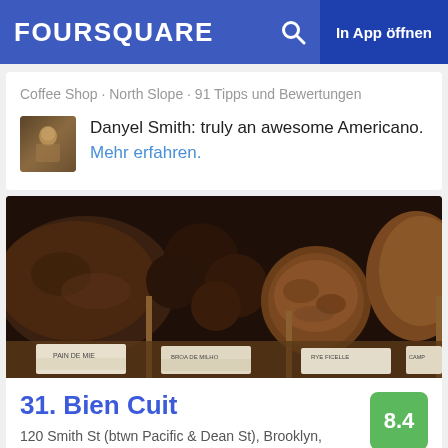FOURSQUARE · In App öffnen
Coffee Shop · North Slope · 91 Tipps und Bewertungen
Danyel Smith: truly an awesome Americano. Mehr erfahren.
[Figure (photo): Artisan breads displayed in wooden trays at Bien Cuit bakery, with label cards visible]
31. Bien Cuit
120 Smith St (btwn Pacific & Dean St), Brooklyn, NY
8.4